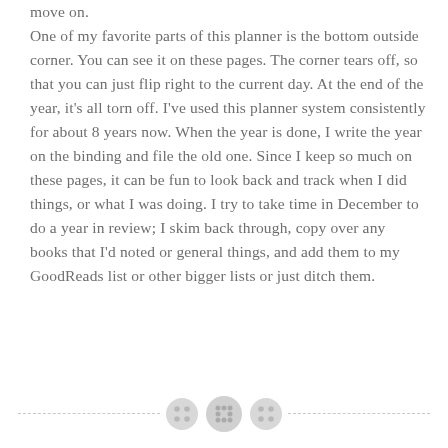move on. One of my favorite parts of this planner is the bottom outside corner. You can see it on these pages. The corner tears off, so that you can just flip right to the current day. At the end of the year, it's all torn off. I've used this planner system consistently for about 8 years now. When the year is done, I write the year on the binding and file the old one. Since I keep so much on these pages, it can be fun to look back and track when I did things, or what I was doing. I try to take time in December to do a year in review; I skim back through, copy over any books that I'd noted or general things, and add them to my GoodReads list or other bigger lists or just ditch them.